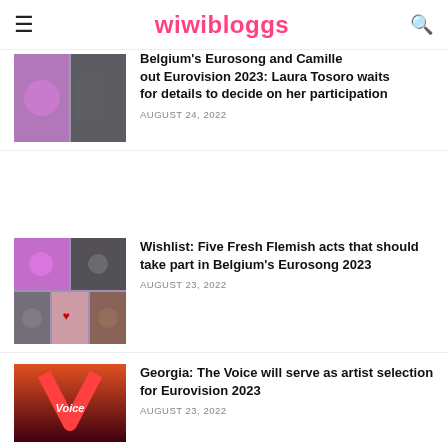wiwibloggs
[Figure (photo): Partial article thumbnail showing two people, cropped at top of page]
Belgium's Eurosong and Camille Talks out Eurovision 2023: Laura Tesoro waits for details to decide on her participation
AUGUST 24, 2022
[Figure (photo): Collage of five Flemish music artists for Eurosong 2023 article]
Wishlist: Five Fresh Flemish acts that should take part in Belgium's Eurosong 2023
AUGUST 23, 2022
[Figure (photo): The Voice logo with red neon sign against sunset sky for Georgia Eurovision article]
Georgia: The Voice will serve as artist selection for Eurovision 2023
AUGUST 23, 2022
[Figure (photo): Partial thumbnail for Una Voce per San Marino article, cropped at bottom]
Una Voce per San Marino 2023: New rules…